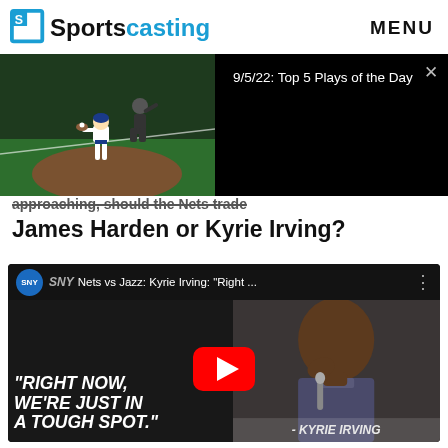[Figure (logo): Sportscasting logo with blue bracket icon and two-tone text: 'Sports' in black, 'casting' in blue]
MENU
[Figure (screenshot): Video banner split: left half shows baseball game (player fielding), right half shows black background with text '9/5/22: Top 5 Plays of the Day']
approaching, should the Nets trade James Harden or Kyrie Irving?
[Figure (screenshot): YouTube video embed showing SNY channel. Video title: 'Nets vs Jazz: Kyrie Irving: "Right ..."'. Left panel shows quote text '"RIGHT NOW, WE'RE JUST IN A TOUGH SPOT."' on dark background. Right panel shows Kyrie Irving at press conference. Bottom text shows '- KYRIE IRVING'. YouTube play button visible in center.]